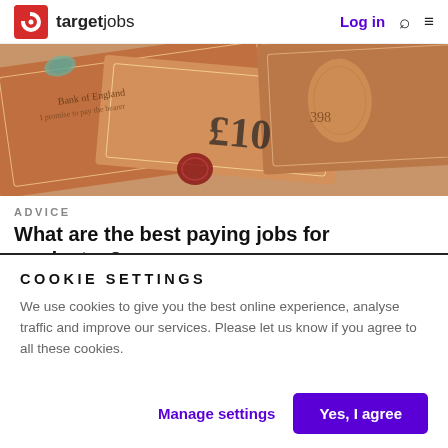targetjobs | Log in
[Figure (photo): Close-up photograph of British pound banknotes (£10 notes, Bank of England) spread out, showing text and decorative engravings in brown/orange tones.]
ADVICE
What are the best paying jobs for graduates?
Find out the UK's average graduate salary, which professions offer the highest starting salaries and how
COOKIE SETTINGS
We use cookies to give you the best online experience, analyse traffic and improve our services. Please let us know if you agree to all these cookies.
Manage settings | Yes, I agree